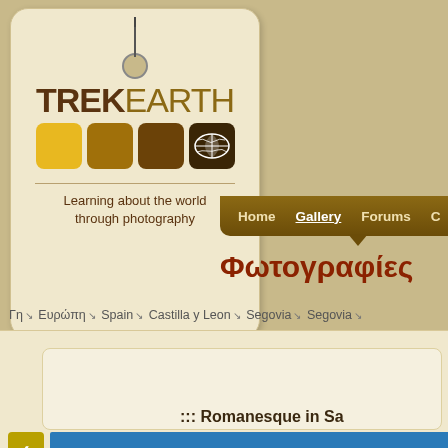[Figure (logo): TrekEarth logo tag with colored squares, world map icon, and tagline 'Learning about the world through photography']
Home  Gallery  Forums  C...
Φωτογραφίες
Γη → Ευρώπη → Spain → Castilla y Leon → Segovia → Segovia →
::: Romanesque in Sa